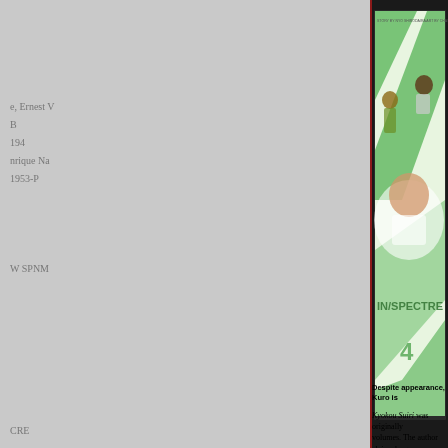[Figure (photo): Photo of the manga volume 'In/Spectre' volume 4 (Kyokou Suiri) placed on a dark surface showing the cover with anime-style characters. The cover features green diagonal stripes, the title 'IN/SPECTRE' in large stylized letters, and the number 4. Characters visible include a boy and girl. Text at top reads 'story by Nyo Shirodaira art by Chasiba Katase'. Below the manga, partial text from what appears to be a parts list or similar document is visible.]
Despite appearance, Kuro is
Kyokou Suiri was originally volumes. The author claims he gav latitude to apply appropriate cha